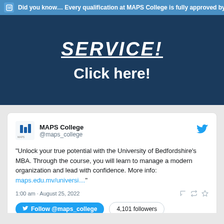Did you know… Every qualification at MAPS College is fully approved by
SERVICE!
Click here!
[Figure (screenshot): Tweet card from MAPS College (@maps_college) dated 1:00 am · August 25, 2022. Tweet text: "Unlock your true potential with the University of Bedfordshire's MBA. Through the course, you will learn to manage a modern organization and lead with confidence. More info: maps.edu.mv/universi…" with Follow @maps_college button and 4,101 followers count.]